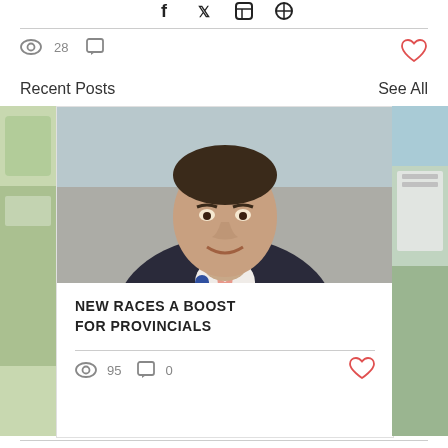[Figure (other): Social media share icons (Facebook, Twitter, LinkedIn, other) at top]
28 views, 0 comments, heart/like icon
Recent Posts
See All
[Figure (photo): Photo of a man in a dark suit with a pink tie and blue boutonniere, smiling, with blurred background]
NEW RACES A BOOST FOR PROVINCIALS
95 views, 0 comments, heart/like icon